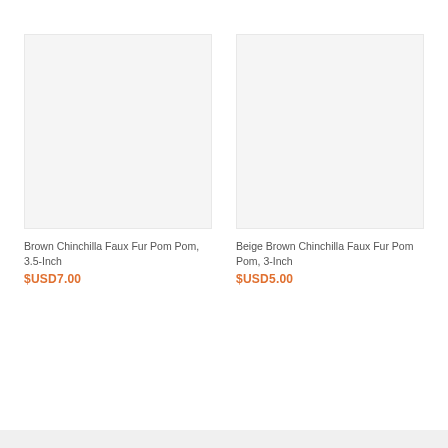[Figure (photo): Product image placeholder for Brown Chinchilla Faux Fur Pom Pom, light gray background]
Brown Chinchilla Faux Fur Pom Pom, 3.5-Inch
$USD7.00
[Figure (photo): Product image placeholder for Beige Brown Chinchilla Faux Fur Pom Pom, light gray background]
Beige Brown Chinchilla Faux Fur Pom Pom, 3-Inch
$USD5.00